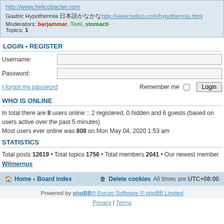http://www.helicobacter.com
Gastric Hypothermia 日本語
http://www.helico.com/hypothermia.html
Moderators: barjammar, Toni, stomach
Topics: 1
LOGIN • REGISTER
Username:
Password:
I forgot my password   Remember me  Login
WHO IS ONLINE
In total there are 8 users online :: 2 registered, 0 hidden and 6 guests (based on users active over the past 5 minutes)
Most users ever online was 808 on Mon May 04, 2020 1:53 am
STATISTICS
Total posts 12619 • Total topics 1756 • Total members 2041 • Our newest member Wilmernus
Home · Board index   Delete cookies   All times are UTC+08:00
Powered by phpBB® Forum Software © phpBB Limited
Privacy | Terms